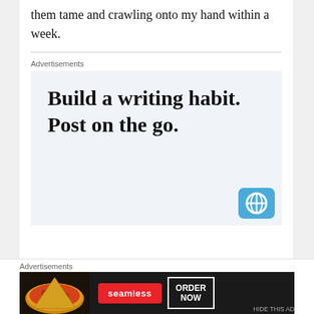them tame and crawling onto my hand within a week.
Advertisements
[Figure (other): Advertisement box with text 'Build a writing habit. Post on the go.' with a WordPress icon in the bottom right corner, on a light blue-grey background.]
Advertisements
[Figure (other): Seamless food delivery advertisement banner showing pizza image on the left, red Seamless logo pill in center, and 'ORDER NOW' button in white border on dark background.]